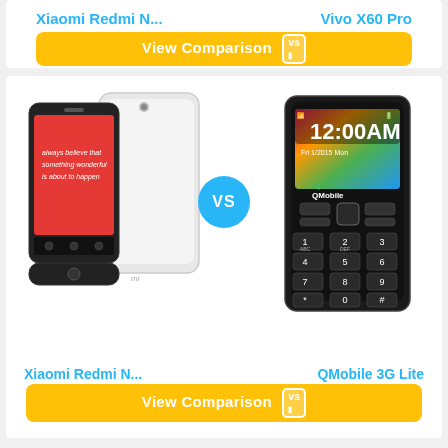Xiaomi Redmi N...
Vivo X60 Pro
View Comparison vs
[Figure (photo): Two Xiaomi Redmi N smartphones shown side by side (front and back views). The front shows a red screen with white motivational text. The back is white.]
[Figure (photo): A QMobile 3G Lite feature phone with a colorful display showing 12:00AM and a number keypad.]
Xiaomi Redmi N...
QMobile 3G Lite
View Comparison vs